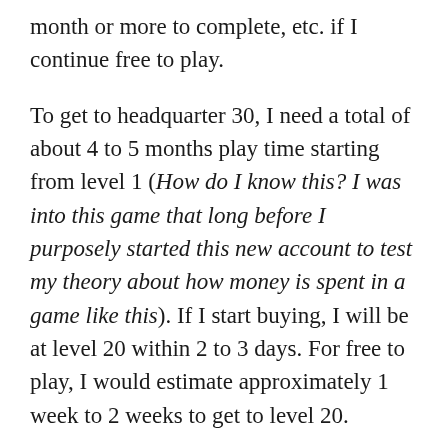month or more to complete, etc. if I continue free to play.
To get to headquarter 30, I need a total of about 4 to 5 months play time starting from level 1 (How do I know this? I was into this game that long before I purposely started this new account to test my theory about how money is spent in a game like this). If I start buying, I will be at level 20 within 2 to 3 days. For free to play, I would estimate approximately 1 week to 2 weeks to get to level 20.
Also, being at higher level does not give me immediate power access to beat other players. I still need to build up my heroes, chief level and it goes on. The amount spent to 40 heroes can be